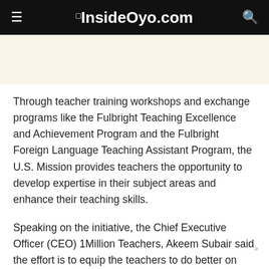InsideOyo.com
Through teacher training workshops and exchange programs like the Fulbright Teaching Excellence and Achievement Program and the Fulbright Foreign Language Teaching Assistant Program, the U.S. Mission provides teachers the opportunity to develop expertise in their subject areas and enhance their teaching skills.
Speaking on the initiative, the Chief Executive Officer (CEO) 1Million Teachers, Akeem Subair said the effort is to equip the teachers to do better on their job and make learning fun for the students.